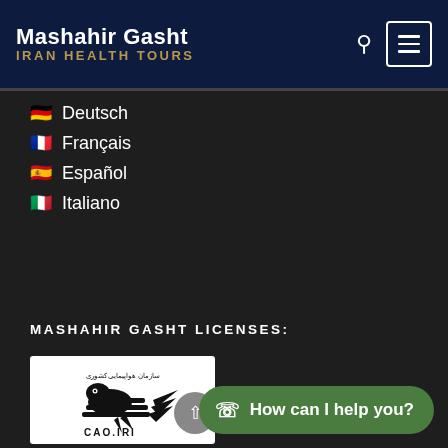Mashahir Gasht
IRAN HEALTH TOURS
🇩🇪 Deutsch
🇫🇷 Français
🇪🇸 Español
🇮🇹 Italiano
MASHAHIR GASHT LICENSES:
[Figure (logo): CAO.IRI logo – Iranian Civil Aviation Organization bird logo with Persian text and CAO.IRI text below]
How can I help you?